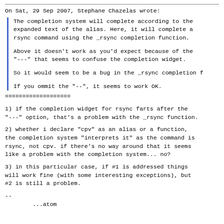On Sat, 29 Sep 2007, Stephane Chazelas wrote:
The completion system will complete according to the expanded text of the alias. Here, it will complete a rsync command using the _rsync completion function.

Above it doesn't work as you'd expect because of the "--" that seems to confuse the completion widget.

So it would seem to be a bug in the _rsync completion f

If you ommit the "--", it seems to work OK.
==================
1) if the completion widget for rsync farts after the "--" option, that's a problem with the _rsync function.
2) whether i declare "cpv" as an alias or a function, the completion system "interprets it" as the command is rsync, not cpv. if there's no way around that it seems like a problem with the completion system... no?
3) in this particular case, if #1 is addressed things will work fine (with some interesting exceptions), but #2 is still a problem.
--
        ...atom